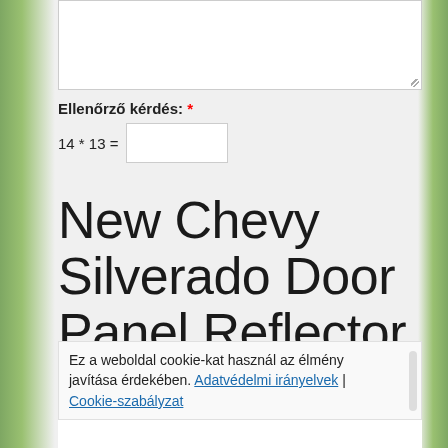[textarea input box]
Ellenőrző kérdés: *
New Chevy Silverado Door Panel Reflector Solid Red Round
Ez a weboldal cookie-kat használ az élmény javítása érdekében. Adatvédelmi irányelvek | Cookie-szabályzat